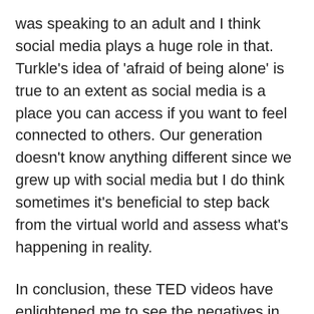was speaking to an adult and I think social media plays a huge role in that. Turkle's idea of 'afraid of being alone' is true to an extent as social media is a place you can access if you want to feel connected to others. Our generation doesn't know anything different since we grew up with social media but I do think sometimes it's beneficial to step back from the virtual world and assess what's happening in reality.
In conclusion, these TED videos have enlightened me to see the negatives in social media that I didn't see myself. It saddens me to see that social media is causing us to lose touch with reality and as the media keeps growing each future generation will become more addicted, affecting them in which...